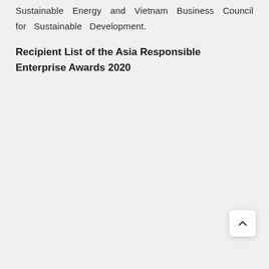Sustainable Energy and Vietnam Business Council for Sustainable Development.
Recipient List of the Asia Responsible Enterprise Awards 2020